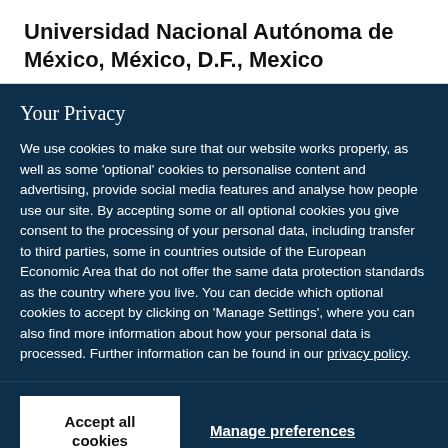Universidad Nacional Autónoma de México, México, D.F., Mexico
Your Privacy
We use cookies to make sure that our website works properly, as well as some 'optional' cookies to personalise content and advertising, provide social media features and analyse how people use our site. By accepting some or all optional cookies you give consent to the processing of your personal data, including transfer to third parties, some in countries outside of the European Economic Area that do not offer the same data protection standards as the country where you live. You can decide which optional cookies to accept by clicking on 'Manage Settings', where you can also find more information about how your personal data is processed. Further information can be found in our privacy policy.
Accept all cookies
Manage preferences